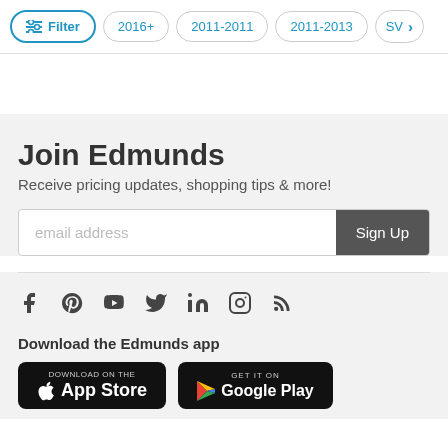Filter | 2016+ | 2011-2011 | 2011-2013 | SV >
Join Edmunds
Receive pricing updates, shopping tips & more!
email address  Sign Up
[Figure (infographic): Social media icons: Facebook, Pinterest, YouTube, Twitter, LinkedIn, Instagram, RSS]
Download the Edmunds app
[Figure (screenshot): App Store and Google Play download badges]